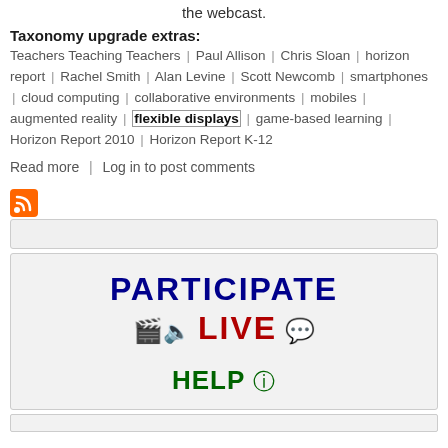the webcast.
Taxonomy upgrade extras:
Teachers Teaching Teachers | Paul Allison | Chris Sloan | horizon report | Rachel Smith | Alan Levine | Scott Newcomb | smartphones | cloud computing | collaborative environments | mobiles | augmented reality | flexible displays | game-based learning | Horizon Report 2010 | Horizon Report K-12
Read more | Log in to post comments
[Figure (other): RSS feed icon (orange square with white RSS signal arcs)]
[Figure (infographic): Participate Live Help banner with colorful bold text and emoji-style icons]
[Figure (other): Bottom gray bar area]